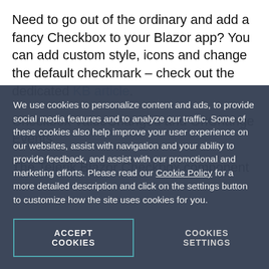Need to go out of the ordinary and add a fancy Checkbox to your Blazor app? You can add custom style, icons and change the default checkmark – check out the dedicated KB article.
Checkbox ValueChanged and OnChange Events
The Telerik Blazor Checkbox component
We use cookies to personalize content and ads, to provide social media features and to analyze our traffic. Some of these cookies also help improve your user experience on our websites, assist with navigation and your ability to provide feedback, and assist with our promotional and marketing efforts. Please read our Cookie Policy for a more detailed description and click on the settings button to customize how the site uses cookies for you.